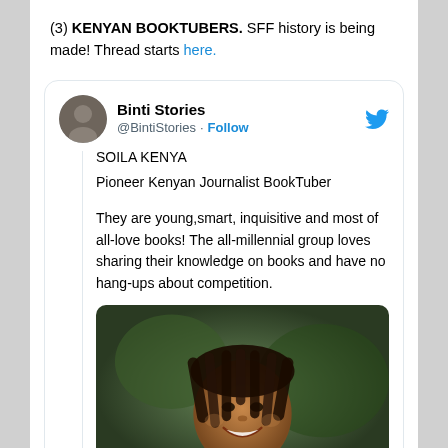(3) KENYAN BOOKTUBERS. SFF history is being made! Thread starts here.
[Figure (screenshot): Embedded tweet from @BintiStories account showing text about Soila Kenya, Pioneer Kenyan Journalist BookTuber, with a photo of a smiling young woman with dreadlocks.]